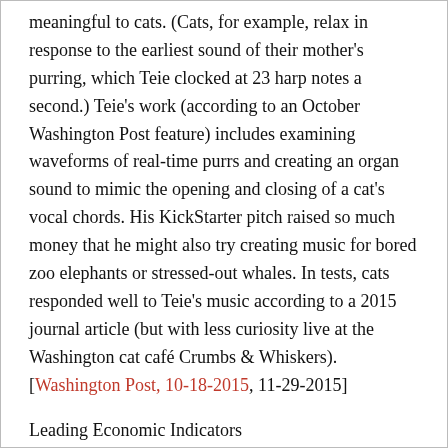meaningful to cats. (Cats, for example, relax in response to the earliest sound of their mother's purring, which Teie clocked at 23 harp notes a second.) Teie's work (according to an October Washington Post feature) includes examining waveforms of real-time purrs and creating an organ sound to mimic the opening and closing of a cat's vocal chords. His KickStarter pitch raised so much money that he might also try creating music for bored zoo elephants or stressed-out whales. In tests, cats responded well to Teie's music according to a 2015 journal article (but with less curiosity live at the Washington cat café Crumbs & Whiskers). [Washington Post, 10-18-2015, 11-29-2015]
Leading Economic Indicators
Amazon.com has riled up Buddhist temples in Japan (according to a January Associated Press dispatch) by offering traveling monks rentable online to conduct funerals and other rituals. The monk would go to a home, grave, or funeral home, at fees and upgrades ranging from the